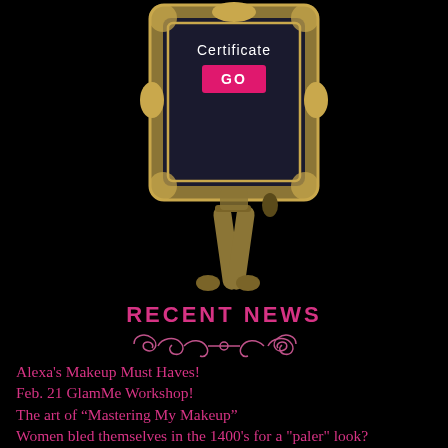[Figure (photo): Ornate gold antique picture frame on a decorative easel stand, with dark patterned background inside the frame. A pink 'GO' button is visible inside the frame, and white text reading 'Certificate' appears at the top of the frame interior.]
RECENT NEWS
[Figure (illustration): Decorative pink scroll/flourish divider ornament]
Alexa's Makeup Must Haves!
Feb. 21 GlamMe Workshop!
The art of "Mastering My Makeup"
Women bled themselves in the 1400's for a "paler" look?
Latest Glam Academy Lab!